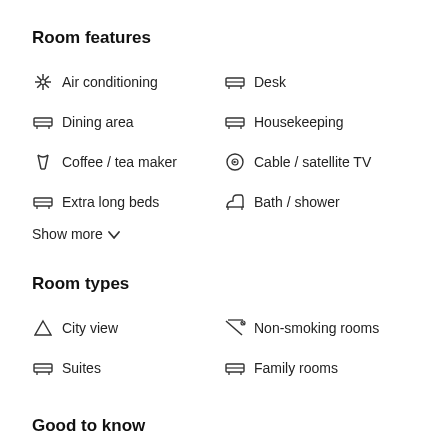Room features
Air conditioning
Desk
Dining area
Housekeeping
Coffee / tea maker
Cable / satellite TV
Extra long beds
Bath / shower
Show more
Room types
City view
Non-smoking rooms
Suites
Family rooms
Good to know
LANGUAGES SPOKEN